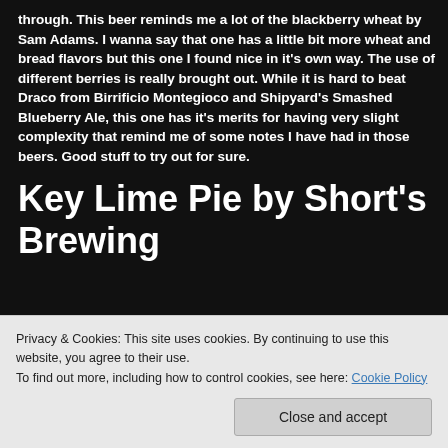through. This beer reminds me a lot of the blackberry wheat by Sam Adams. I wanna say that one has a little bit more wheat and bread flavors but this one I found nice in it's own way. The use of different berries is really brought out. While it is hard to beat Draco from Birrificio Montegioco and Shipyard's Smashed Blueberry Ale, this one has it's merits for having very slight complexity that remind me of some notes I have had in those beers. Good stuff to try out for sure.
Key Lime Pie by Short's Brewing
April 1, 2013 tagged Fruit Beer, gold medal winner, graham crackers, key lime pie, Lactose, lemon meringue, marshmallow fluff, Michelle Kajoh, Michiru...
Privacy & Cookies: This site uses cookies. By continuing to use this website, you agree to their use.
To find out more, including how to control cookies, see here: Cookie Policy